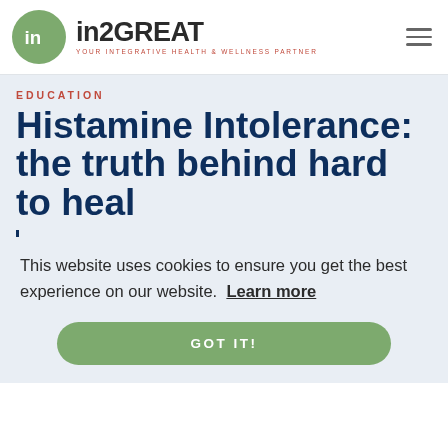[Figure (logo): in2GREAT logo with green circle icon and tagline 'YOUR INTEGRATIVE HEALTH & WELLNESS PARTNER']
EDUCATION
Histamine Intolerance: the truth behind hard to heal
This website uses cookies to ensure you get the best experience on our website. Learn more
GOT IT!
[Figure (photo): Bottom strip photo showing food items on a wooden surface]